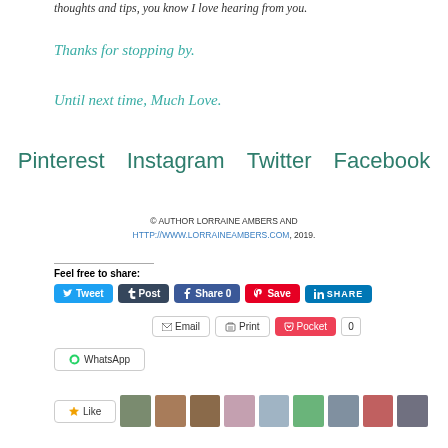thoughts and tips, you know I love hearing from you.
Thanks for stopping by.
Until next time, Much Love.
Pinterest   Instagram   Twitter   Facebook
© AUTHOR LORRAINE AMBERS AND HTTP://WWW.LORRAINEAMBERS.COM, 2019.
Feel free to share:
[Figure (infographic): Social share buttons: Tweet, Post, Share 0, Save, SHARE, Email, Print, Pocket 0, WhatsApp]
[Figure (infographic): Like button and row of avatar thumbnails at bottom]